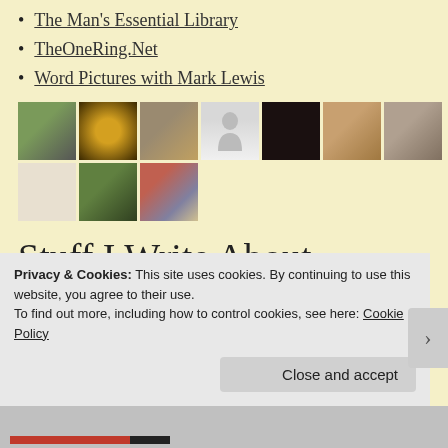The Man's Essential Library
TheOneRing.Net
Word Pictures with Mark Lewis
[Figure (photo): A grid of 10 thumbnail photos showing various subjects: a person, a ring, a dog, a silhouette, a dark image, a portrait sketch, a vintage photo, an illustrated figure, a small building, and a person holding a mug.]
Stuff I Write About
animation Book
Privacy & Cookies: This site uses cookies. By continuing to use this website, you agree to their use.
To find out more, including how to control cookies, see here: Cookie Policy
Close and accept